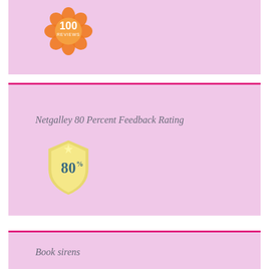[Figure (logo): Orange flower-shaped badge with '100 REVIEWS' text inside]
[Figure (infographic): Pink section with text 'Netgalley 80 Percent Feedback Rating' and a gold shield badge showing 80%]
Netgalley 80 Percent Feedback Rating
[Figure (logo): Gold shield badge with '80%' text]
Book sirens